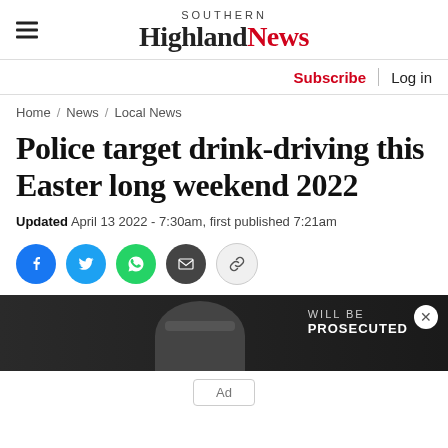Southern Highland News
Subscribe | Log in
Home / News / Local News
Police target drink-driving this Easter long weekend 2022
Updated April 13 2022 - 7:30am, first published 7:21am
[Figure (other): Social share buttons: Facebook, Twitter, WhatsApp, Email, Copy link]
[Figure (photo): Partially visible news article image with text overlay 'WILL BE PROSECUTED' and a close button]
Ad